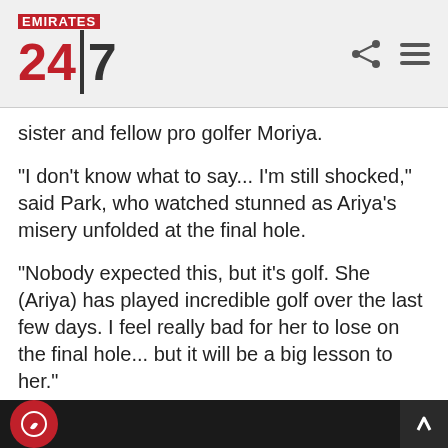Emirates 24|7
sister and fellow pro golfer Moriya.
"I don't know what to say... I'm still shocked," said Park, who watched stunned as Ariya's misery unfolded at the final hole.
"Nobody expected this, but it's golf. She (Ariya) has played incredible golf over the last few days. I feel really bad for her to lose on the final hole... but it will be a big lesson to her."
Ariya, who only turned professional last month, ked set for a famous home victory with two sho